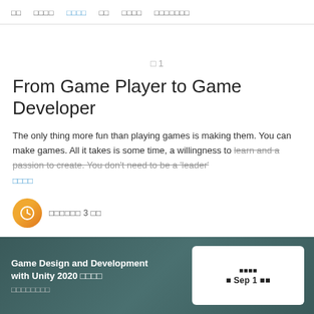□□  □□□□  □□□□  □□  □□□□  □□□□□□□
□ 1
From Game Player to Game Developer
The only thing more fun than playing games is making them. You can make games. All it takes is some time, a willingness to learn and a passion to create. You don't need to be a 'leader'
□□□□
□□□□□□ 3 □□
Game Design and Development with Unity 2020 □□□□ □□□□□□□□
□□□□ □ Sep 1 □□